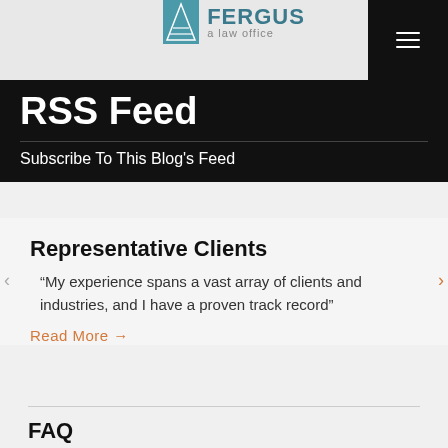[Figure (logo): Fergus a law office logo with teal building icon and text]
RSS Feed
Subscribe To This Blog's Feed
Representative Clients
“My experience spans a vast array of clients and industries, and I have a proven track record”
Read More →
FAQ